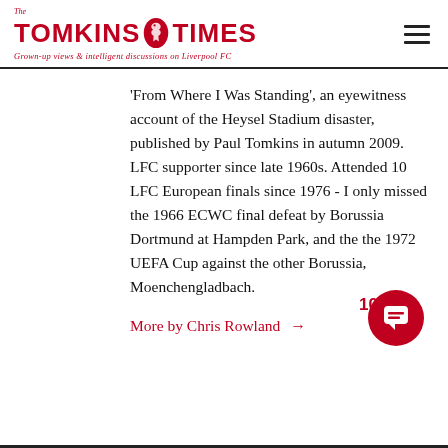The Tomkins Times — Grown-up views & intelligent discussions on Liverpool FC
'From Where I Was Standing', an eyewitness account of the Heysel Stadium disaster, published by Paul Tomkins in autumn 2009. LFC supporter since late 1960s. Attended 10 LFC European finals since 1976 - I only missed the 1966 ECWC final defeat by Borussia Dortmund at Hampden Park, and the the 1972 UEFA Cup against the other Borussia, Moenchengladbach.
More by Chris Rowland →